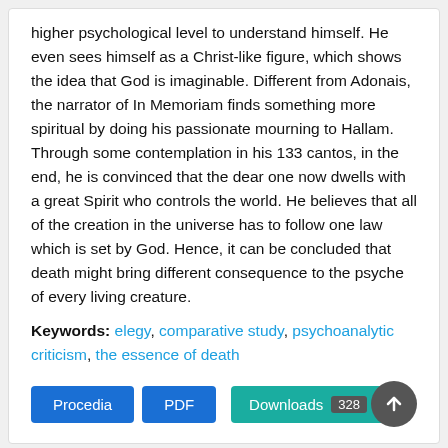higher psychological level to understand himself. He even sees himself as a Christ-like figure, which shows the idea that God is imaginable. Different from Adonais, the narrator of In Memoriam finds something more spiritual by doing his passionate mourning to Hallam. Through some contemplation in his 133 cantos, in the end, he is convinced that the dear one now dwells with a great Spirit who controls the world. He believes that all of the creation in the universe has to follow one law which is set by God. Hence, it can be concluded that death might bring different consequence to the psyche of every living creature.
Keywords: elegy, comparative study, psychoanalytic criticism, the essence of death